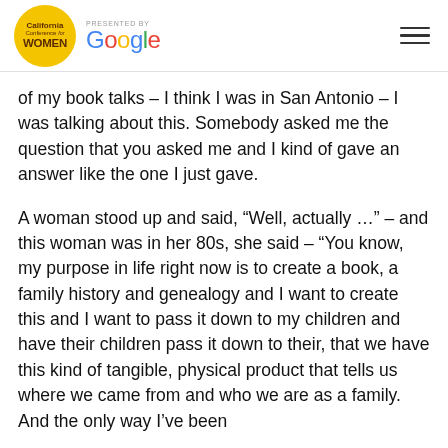California Conference for WOMEN — PRESENTED BY Google
of my book talks – I think I was in San Antonio – I was talking about this. Somebody asked me the question that you asked me and I kind of gave an answer like the one I just gave.
A woman stood up and said, “Well, actually …” – and this woman was in her 80s, she said – “You know, my purpose in life right now is to create a book, a family history and genealogy and I want to create this and I want to pass it down to my children and have their children pass it down to their, that we have this kind of tangible, physical product that tells us where we came from and who we are as a family. And the only way I’ve been